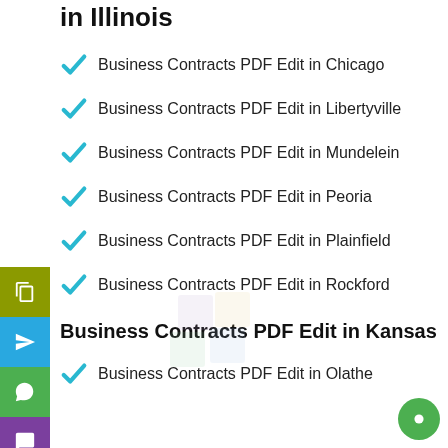in Illinois
Business Contracts PDF Edit in Chicago
Business Contracts PDF Edit in Libertyville
Business Contracts PDF Edit in Mundelein
Business Contracts PDF Edit in Peoria
Business Contracts PDF Edit in Plainfield
Business Contracts PDF Edit in Rockford
Business Contracts PDF Edit in Kansas
Business Contracts PDF Edit in Olathe